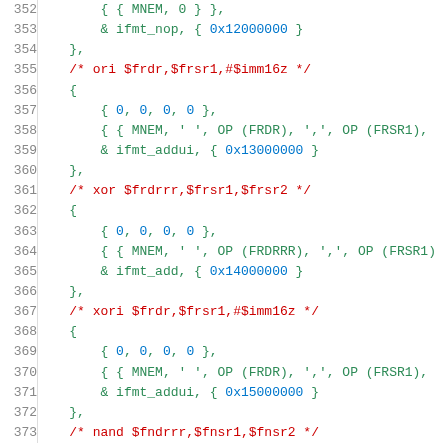[Figure (screenshot): Source code listing lines 352-373 showing assembly instruction encoding table entries in C, with line numbers on the left, comments in red, numeric literals in blue, and code in green monospace font.]